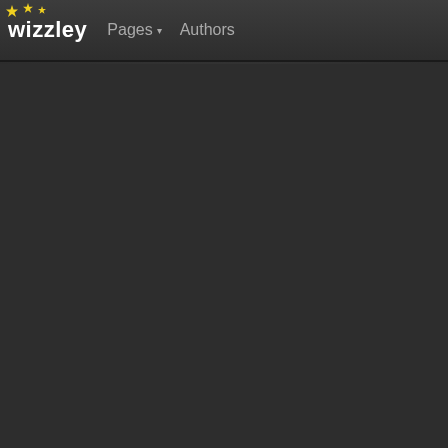wizzley  Pages ▾  Authors
[Figure (other): Dark textured background filling the main content area below the navigation bar]